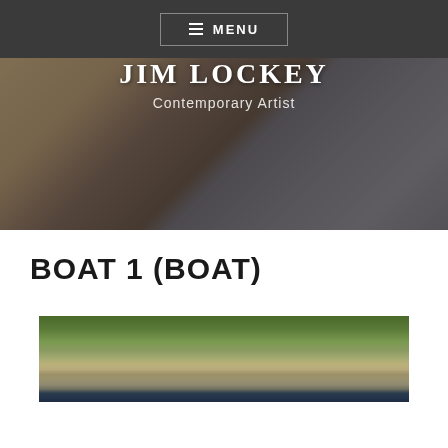≡ MENU
[Figure (photo): Hero banner image showing draped fabric or nets in muted earth tones (brown, tan, grey), serving as background for the site header.]
JIM LOCKEY
Contemporary Artist
BOAT 1 (BOAT)
[Figure (photo): Partial photograph showing a stone wall with green vegetation and ivy, with water visible at the bottom — appears to be a canal or river bank.]